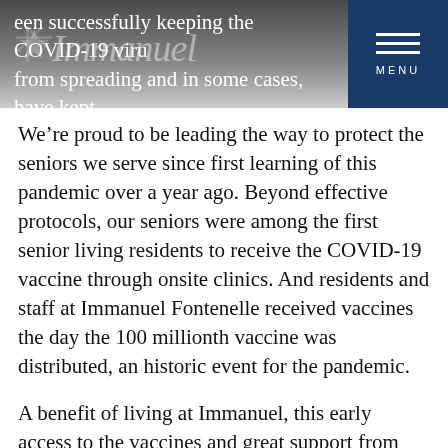een successfully keeping the COVID-19 viru from spreading and in some cases, have kept virus out completely.
We’re proud to be leading the way to protect the seniors we serve since first learning of this pandemic over a year ago. Beyond effective protocols, our seniors were among the first senior living residents to receive the COVID-19 vaccine through onsite clinics. And residents and staff at Immanuel Fontenelle received vaccines the day the 100 millionth vaccine was distributed, an historic event for the pandemic.
A benefit of living at Immanuel, this early access to the vaccines and great support from residents and employees in receiving them, mean restaurants and other services can safely reopen that much